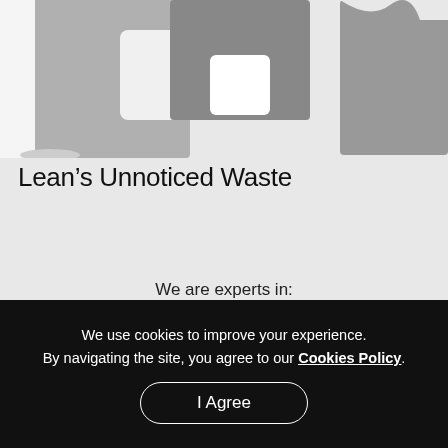[Figure (illustration): Partial view of a grayscale illustration showing puzzle pieces or abstract shapes in gray tones on a light background]
Lean’s Unnoticed Waste
We are experts in:
| Consulting Solutions | Capability Development |
| --- | --- |
We use cookies to improve your experience.
By navigating the site, you agree to our Cookies Policy.
I Agree